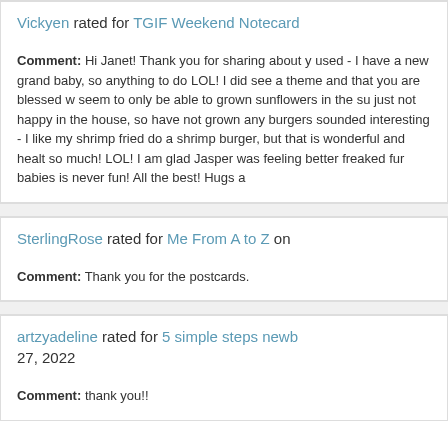Vickyen rated for TGIF Weekend Notecard...
Comment: Hi Janet! Thank you for sharing about y... used - I have a new grand baby, so anything to do... LOL! I did see a theme and that you are blessed w... seem to only be able to grown sunflowers in the su... just not happy in the house, so have not grown any... burgers sounded interesting - I like my shrimp fried... do a shrimp burger, but that is wonderful and healt... so much! LOL! I am glad Jasper was feeling better... freaked fur babies is never fun! All the best! Hugs a...
SterlingRose rated for Me From A to Z on ...
Comment: Thank you for the postcards.
artzyadeline rated for 5 simple steps newb... 27, 2022
Comment: thank you!!